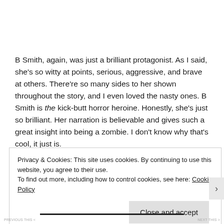B Smith, again, was just a brilliant protagonist. As I said, she's so witty at points, serious, aggressive, and brave at others. There're so many sides to her shown throughout the story, and I even loved the nasty ones. B Smith is the kick-butt horror heroine. Honestly, she's just so brilliant. Her narration is believable and gives such a great insight into being a zombie. I don't know why that's cool, it just is.
Privacy & Cookies: This site uses cookies. By continuing to use this website, you agree to their use.
To find out more, including how to control cookies, see here: Cookie Policy
Close and accept